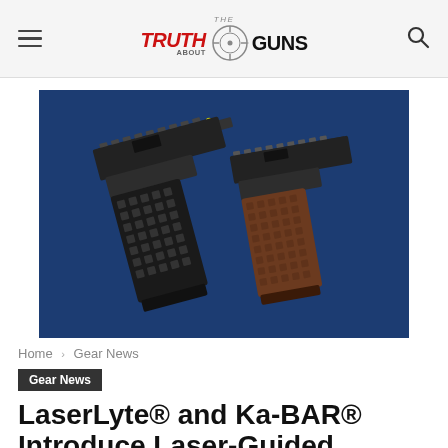The Truth About Guns
[Figure (photo): Two pistols displayed on a dark blue background. Left pistol has black polymer grip with textured squares; right pistol has wooden/brown grip. Both feature Picatinny rails on top of the slides.]
Home › Gear News
Gear News
LaserLyte® and Ka-BAR® Introduce Laser-Guided